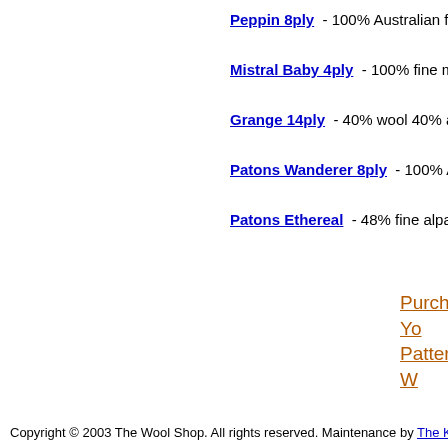Peppin 8ply - 100% Australian fine me...
Mistral Baby 4ply - 100% fine merino...
Grange 14ply - 40% wool 40% acrylic...
Patons Wanderer 8ply - 100% Austra...
Patons Ethereal - 48% fine alpaca 30...
Purchase Yo... Pattern & W...
Copyright © 2003 The Wool Shop. All rights reserved. Maintenance by The K...